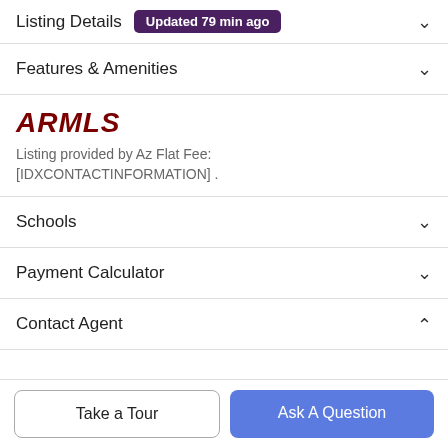Listing Details Updated 79 min ago
Features & Amenities
[Figure (logo): ARMLS logo in dark red italic bold lettering]
Listing provided by Az Flat Fee: [IDXCONTACTINFORMATION] .
Schools
Payment Calculator
Contact Agent
Take a Tour
Ask A Question